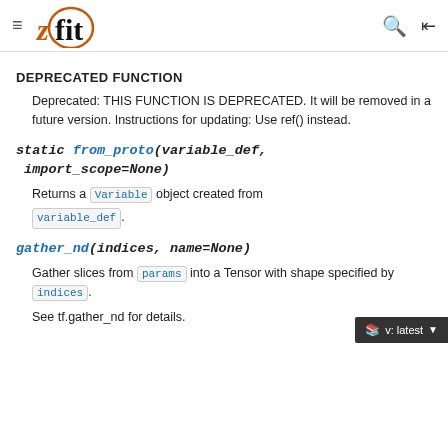≡  zfit  🔍  ≡
DEPRECATED FUNCTION
Deprecated: THIS FUNCTION IS DEPRECATED. It will be removed in a future version. Instructions for updating: Use ref() instead.
static from_proto(variable_def, import_scope=None)
Returns a Variable object created from variable_def.
gather_nd(indices, name=None)
Gather slices from params into a Tensor with shape specified by indices.
See tf.gather_nd for details.